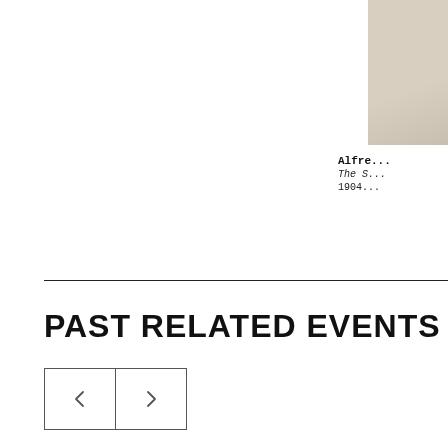[Figure (photo): Partial view of a light-colored artwork or document image in the top right corner]
Alfre...
The S...
1904...
PAST RELATED EVENTS
[Figure (screenshot): Navigation buttons with left and right chevron arrows for carousel]
[Figure (photo): Large event photo showing a museum hall lit in purple with a crowd of people gathered inside, featuring classical columns and arched architecture]
[Figure (photo): Partial view of a second event photo on the right side, showing a building exterior or outdoor scene]